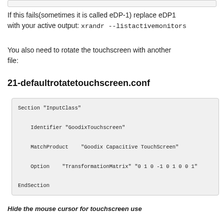If this fails(sometimes it is called eDP-1) replace eDP1 with your active output: xrandr --listactivemonitors
You also need to rotate the touchscreen with another file:
21-defaultrotatetouchscreen.conf
Section "InputClass"
    Identifier "GoodixTouchscreen"
    MatchProduct    "Goodix Capacitive TouchScreen"
    Option    "TransformationMatrix" "0 1 0 -1 0 1 0 0 1"
EndSection
Hide the mouse cursor for touchscreen use